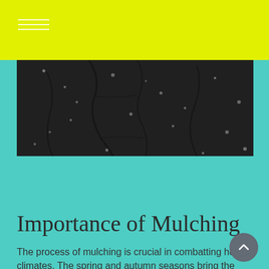[Figure (photo): Close-up photograph of dark mulch/soil with cracks and light-colored mineral flecks on the surface]
Importance of Mulching
The process of mulching is crucial in combatting hot climates. The spring and autumn seasons bring the